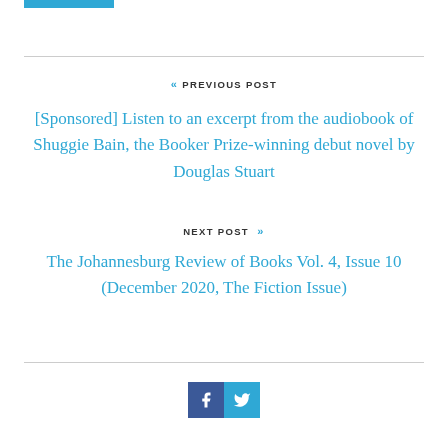[Figure (other): Blue button/bar at top left]
« PREVIOUS POST
[Sponsored] Listen to an excerpt from the audiobook of Shuggie Bain, the Booker Prize-winning debut novel by Douglas Stuart
NEXT POST »
The Johannesburg Review of Books Vol. 4, Issue 10 (December 2020, The Fiction Issue)
[Figure (other): Facebook and Twitter social share icons]